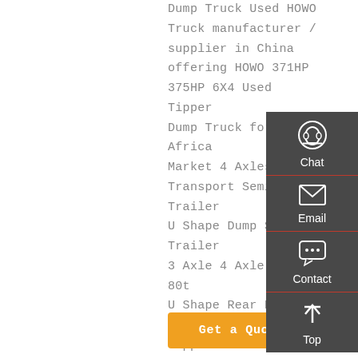Dump Truck Used HOWO Truck manufacturer / supplier in China offering HOWO 371HP 375HP 6X4 Used Tipper Dump Truck for Africa Market 4 Axles Coal Transport Semi Trailer U Shape Dump Semi Trailer 3 Axle 4 Axle 60ton 80t U Shape Rear Dump Box Tipper Truck Semi Trailer and so on. Get a Quote
[Figure (infographic): Sidebar with contact options: Chat (headset icon), Email (envelope icon), Contact (chat bubble icon), Top (up arrow icon). Dark gray background with red dividers.]
Get a Quote